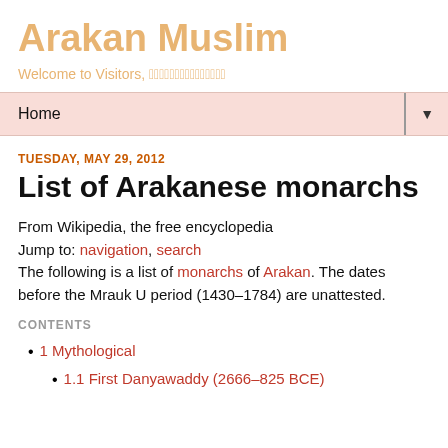Arakan Muslim
Welcome to Visitors, [non-latin text]
Home ▼
TUESDAY, MAY 29, 2012
List of Arakanese monarchs
From Wikipedia, the free encyclopedia
Jump to: navigation, search
The following is a list of monarchs of Arakan. The dates before the Mrauk U period (1430–1784) are unattested.
CONTENTS
1 Mythological
1.1 First Danyawaddy (2666–825 BCE)